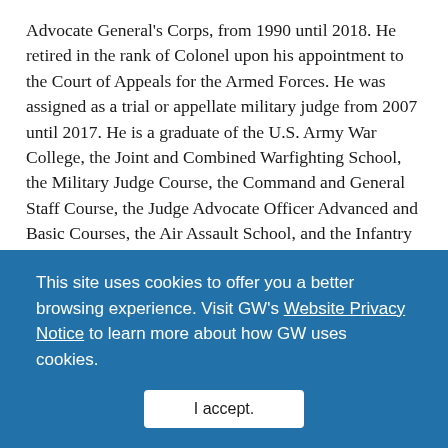Advocate General's Corps, from 1990 until 2018. He retired in the rank of Colonel upon his appointment to the Court of Appeals for the Armed Forces. He was assigned as a trial or appellate military judge from 2007 until 2017. He is a graduate of the U.S. Army War College, the Joint and Combined Warfighting School, the Military Judge Course, the Command and General Staff Course, the Judge Advocate Officer Advanced and Basic Courses, the Air Assault School, and the Infantry Weapons Specialist Course. He was called to active duty in 2007-2008. In 2002, he received the Judge Advocates Association's Outstanding Career Armed Services Attorney Award.
At George Washington, Judge Maggs has taught
This site uses cookies to offer you a better browsing experience. Visit GW's Website Privacy Notice to learn more about how GW uses cookies.
I accept.